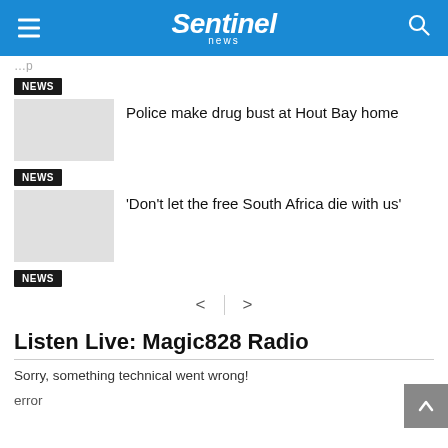Sentinel news
(partial top article text)
News
Police make drug bust at Hout Bay home
News
‘Don’t let the free South Africa die with us’
News
< >
Listen Live: Magic828 Radio
Sorry, something technical went wrong!

error